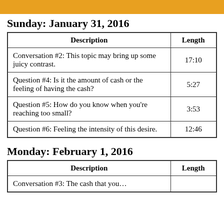Sunday: January 31, 2016
| Description | Length |
| --- | --- |
| Conversation #2: This topic may bring up some juicy contrast. | 17:10 |
| Question #4: Is it the amount of cash or the feeling of having the cash? | 5:27 |
| Question #5: How do you know when you're reaching too small? | 3:53 |
| Question #6: Feeling the intensity of this desire. | 12:46 |
Monday: February 1, 2016
| Description | Length |
| --- | --- |
| Conversation #3: The cash that you… |  |